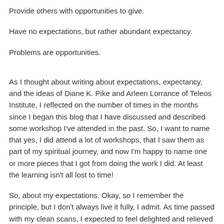Provide others with opportunities to give.
Have no expectations, but rather abundant expectancy.
Problems are opportunities.
As I thought about writing about expectations, expectancy, and the ideas of Diane K. Pike and Arleen Lorrance of Teleos Institute, I reflected on the number of times in the months since I began this blog that I have discussed and described some workshop I've attended in the past. So, I want to name that yes, I did attend a lot of workshops, that I saw them as part of my spiritual journey, and now I'm happy to name one or more pieces that I got from doing the work I did. At least the learning isn't all lost to time!
So, about my expectations. Okay, so I remember the principle, but I don't always live it fully, I admit. As time passed with my clean scans, I expected to feel delighted and relieved to reach the six month mark without needing treatment and without experiencing additional effects of the